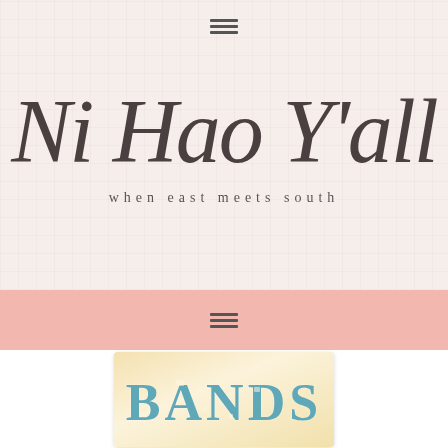☰ (hamburger menu icon)
Ni Hao Y'all
when east meets south
☰ (hamburger menu icon, pink nav bar)
[Figure (illustration): Vintage-style card with distressed blue serif lettering spelling BANDS on a warm cream/tan background]